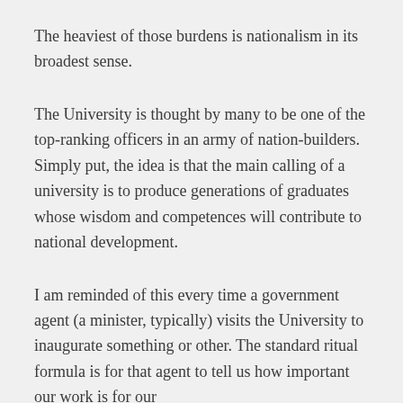The heaviest of those burdens is nationalism in its broadest sense.
The University is thought by many to be one of the top-ranking officers in an army of nation-builders. Simply put, the idea is that the main calling of a university is to produce generations of graduates whose wisdom and competences will contribute to national development.
I am reminded of this every time a government agent (a minister, typically) visits the University to inaugurate something or other. The standard ritual formula is for that agent to tell us how important our work is for our